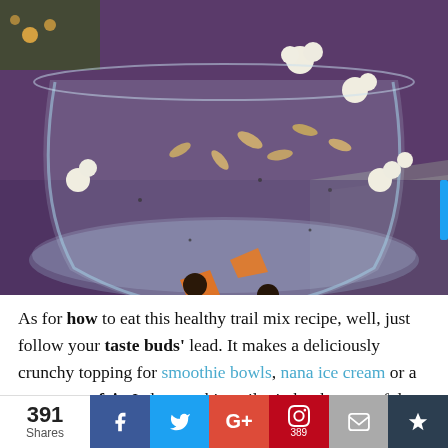[Figure (photo): A glass bowl filled with a colorful healthy trail mix containing popcorn, seeds, dried fruits, and chips, placed on a purple/blue surface]
As for how to eat this healthy trail mix recipe, well, just follow your taste buds' lead. It makes a deliciously crunchy topping for smoothie bowls, nana ice cream or a yogurt parfait. I also eat this trail mix by the spoonful
391 Shares | Facebook | Twitter | Google+ | Pinterest 389 | Email | Crown